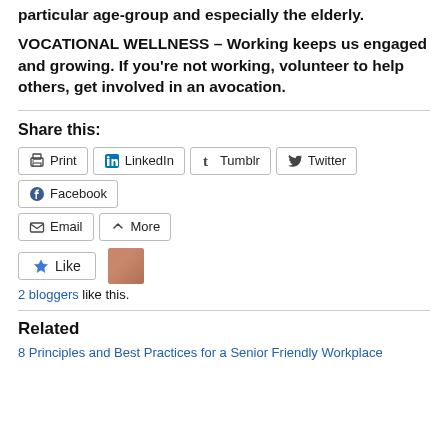particular age-group and especially the elderly.
VOCATIONAL WELLNESS – Working keeps us engaged and growing. If you're not working, volunteer to help others, get involved in an avocation.
Share this:
Print | LinkedIn | Tumblr | Twitter | Facebook | Email | More
Like | 2 bloggers like this.
Related
8 Principles and Best Practices for a Senior Friendly Workplace